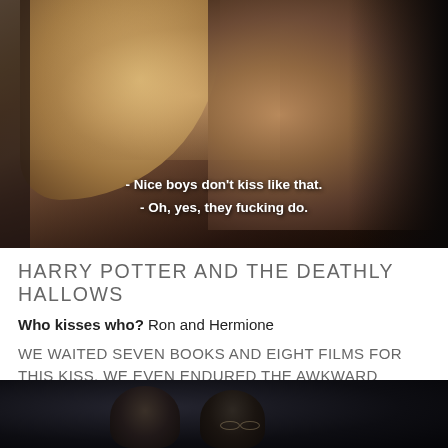[Figure (photo): Close-up photo of a man and woman about to kiss, warm tones, romantic scene with subtitle text overlay]
- Nice boys don't kiss like that.
- Oh, yes, they fucking do.
HARRY POTTER AND THE DEATHLY HALLOWS
Who kisses who? Ron and Hermione
WE WAITED SEVEN BOOKS AND EIGHT FILMS FOR THIS KISS. WE EVEN ENDURED THE AWKWARD SCENE WHERE HARRY AND HERMIONE DANCED IN A TENT FOR THIS KISS.
[Figure (photo): Dark photo of two people from behind, one with glasses visible]